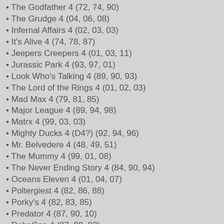The Godfather 4 (72, 74, 90)
The Grudge 4 (04, 06, 08)
Infernal Affairs 4 (02, 03, 03)
It's Alive 4 (74, 78, 87)
Jeepers Creepers 4 (01, 03, 11)
Jurassic Park 4 (93, 97, 01)
Look Who's Talking 4 (89, 90, 93)
The Lord of the Rings 4 (01, 02, 03)
Mad Max 4 (79, 81, 85)
Major League 4 (89, 94, 98)
Matrx 4 (99, 03, 03)
Mighty Ducks 4 (D4?) (92, 94, 96)
Mr. Belvedere 4 (48, 49, 51)
The Mummy 4 (99, 01, 08)
The Never Ending Story 4 (84, 90, 94)
Oceans Eleven 4 (01, 04, 07)
Poltergiest 4 (82, 86, 88)
Porky's 4 (82, 83, 85)
Predator 4 (87, 90, 10)
RoboCop 4 (87, 90, 93)
Rugrats 4 (98, 00, 03)
Rush Hour 4 (98, 01, 07)